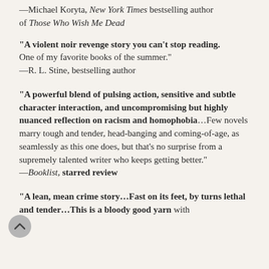—Michael Koryta, New York Times bestselling author of Those Who Wish Me Dead
“A violent noir revenge story you can’t stop reading. One of my favorite books of the summer.” —R. L. Stine, bestselling author
“A powerful blend of pulsing action, sensitive and subtle character interaction, and uncompromising but highly nuanced reflection on racism and homophobia...Few novels marry tough and tender, head-banging and coming-of-age, as seamlessly as this one does, but that’s no surprise from a supremely talented writer who keeps getting better.” —Booklist, starred review
“A lean, mean crime story...Fast on its feet, by turns lethal and tender...This is a bloody good yarn with